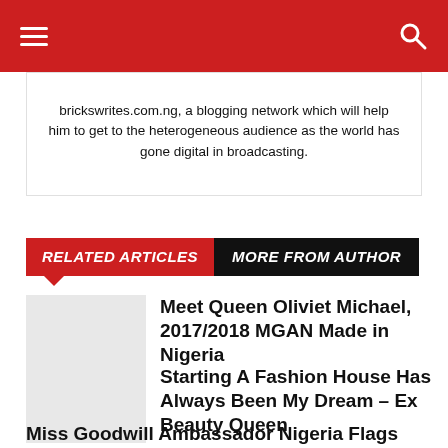brickswrites.com.ng, a blogging network which will help him to get to the heterogeneous audience as the world has gone digital in broadcasting.
RELATED ARTICLES   MORE FROM AUTHOR
Meet Queen Oliviet Michael, 2017/2018 MGAN Made in Nigeria
Starting A Fashion House Has Always Been My Dream – Ex Beauty Queen
Miss Goodwill Ambassador Nigeria Flags